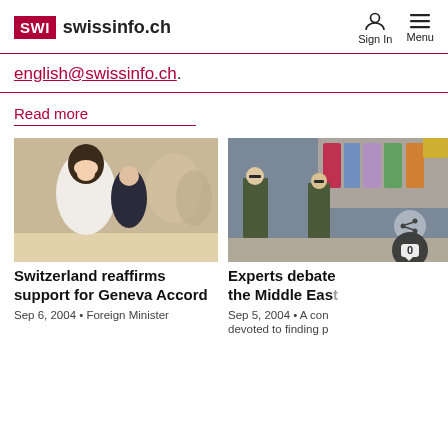SWI swissinfo.ch  Sign In  Menu
english@swissinfo.ch.
Read more
[Figure (photo): Two people at a conference table, a woman in a white shirt leaning forward and a man in background]
Switzerland reaffirms support for Geneva Accord
Sep 6, 2004  • Foreign Minister Micheline Calmy-Rey...
[Figure (photo): Street market scene with soldiers in military uniforms standing by clothing stalls, share and comment badges visible]
Experts debate the Middle East
Sep 5, 2004  • A con devoted to finding p solutions to the...